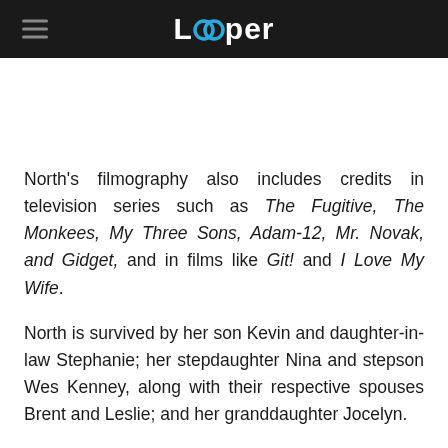Looper
North's filmography also includes credits in television series such as The Fugitive, The Monkees, My Three Sons, Adam-12, Mr. Novak, and Gidget, and in films like Git! and I Love My Wife.
North is survived by her son Kevin and daughter-in-law Stephanie; her stepdaughter Nina and stepson Wes Kenney, along with their respective spouses Brent and Leslie; and her granddaughter Jocelyn.